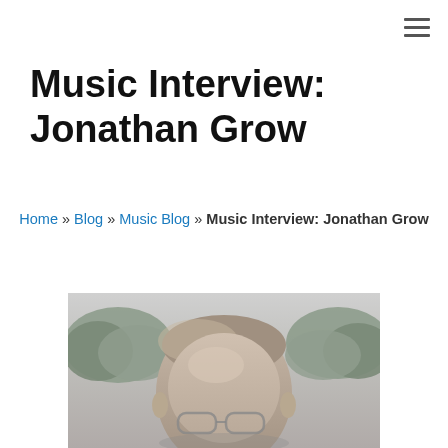≡ (navigation menu icon)
Music Interview: Jonathan Grow
Home » Blog » Music Blog » Music Interview: Jonathan Grow
[Figure (photo): Black and white photograph of Jonathan Grow, a man with glasses, photographed outdoors with trees in the background. Only the top portion of his face and head are visible.]